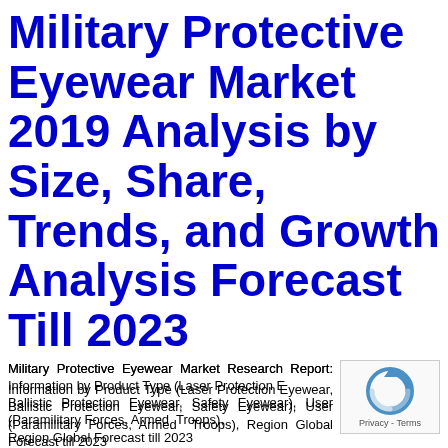Military Protective Eyewear Market 2019 Analysis by Size, Share, Trends, and Growth Analysis Forecast Till 2023
Military Protective Eyewear Market Research Report: Information by Product Type (Laser Protection Eyewear, Ballistic Protection Eyewear, Safety Eyewear), User (Paramilitary Forces, Armed Troops), Region Global Forecast till 2023